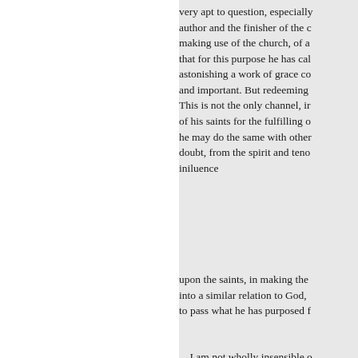very apt to question, especially author and the finisher of the c making use of the church, of a that for this purpose he has cal astonishing a work of grace co and important. But redeeming This is not the only channel, ir of his saints for the fulfilling o he may do the same with other doubt, from the spirit and teno iniluence
upon the saints, in making the into a similar relation to God, to pass what he has purposed f
I am not wholly insensible o how much diversity of sentime
tive to it, that, in discoursing u some, will appear exceptionab resort to some ea. sier theme, v instantly see through and adop sincerity as any man living, tha
any one with unwelcome and